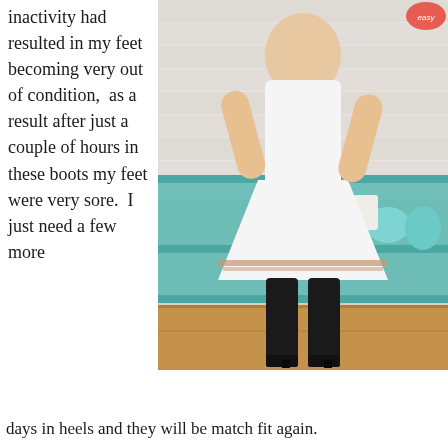inactivity had resulted in my feet becoming very out of condition,  as a result after just a couple of hours in these boots my feet were very sore.  I just need a few more
[Figure (photo): A person wearing a white sleeveless dress with decorative trim and tall black over-the-knee heeled boots, standing in what appears to a retail or home decor shop with teal shelving and various decorative items in the background.]
days in heels and they will be match fit again.